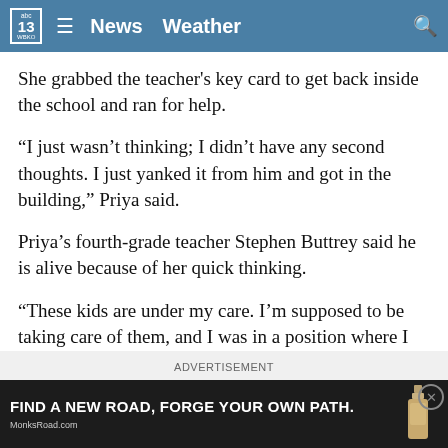abc 13 WBKO  ≡  News  Weather  🔍
She grabbed the teacher's key card to get back inside the school and ran for help.
“I just wasn’t thinking; I didn’t have any second thoughts. I just yanked it from him and got in the building,” Priya said.
Priya’s fourth-grade teacher Stephen Buttrey said he is alive because of her quick thinking.
“These kids are under my care. I’m supposed to be taking care of them, and I was in a position where I needed their help. It was scary,” Buttrey said.
ADVERTISEMENT
[Figure (photo): Advertisement banner: black background with text 'FIND A NEW ROAD, FORGE YOUR OWN PATH.' and MonksRoad.com branding with a bottle image]